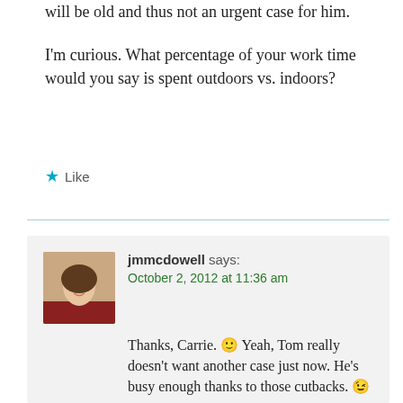will be old and thus not an urgent case for him.
I'm curious. What percentage of your work time would you say is spent outdoors vs. indoors?
★ Like
jmmcdowell says:
October 2, 2012 at 11:36 am
Thanks, Carrie. 🙂 Yeah, Tom really doesn't want another case just now. He's busy enough thanks to those cutbacks. 😉